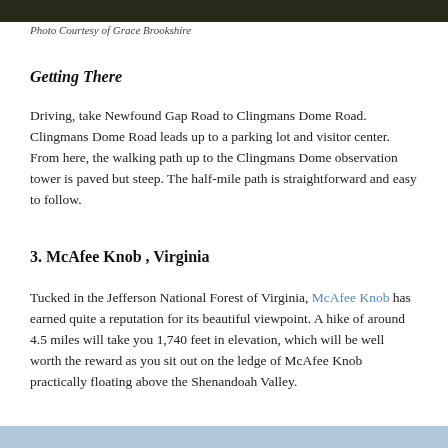[Figure (photo): Dark forest/nature photo strip at top of page]
Photo Courtesy of Grace Brookshire
Getting There
Driving, take Newfound Gap Road to Clingmans Dome Road. Clingmans Dome Road leads up to a parking lot and visitor center. From here, the walking path up to the Clingmans Dome observation tower is paved but steep. The half-mile path is straightforward and easy to follow.
3. McAfee Knob , Virginia
Tucked in the Jefferson National Forest of Virginia, McAfee Knob has earned quite a reputation for its beautiful viewpoint. A hike of around 4.5 miles will take you 1,740 feet in elevation, which will be well worth the reward as you sit out on the ledge of McAfee Knob practically floating above the Shenandoah Valley.
[Figure (photo): Light blue/sky photo strip at bottom of page]